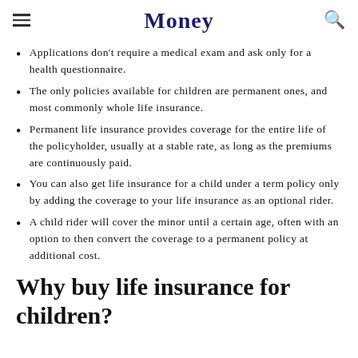Money
Applications don't require a medical exam and ask only for a health questionnaire.
The only policies available for children are permanent ones, and most commonly whole life insurance.
Permanent life insurance provides coverage for the entire life of the policyholder, usually at a stable rate, as long as the premiums are continuously paid.
You can also get life insurance for a child under a term policy only by adding the coverage to your life insurance as an optional rider.
A child rider will cover the minor until a certain age, often with an option to then convert the coverage to a permanent policy at additional cost.
Why buy life insurance for children?